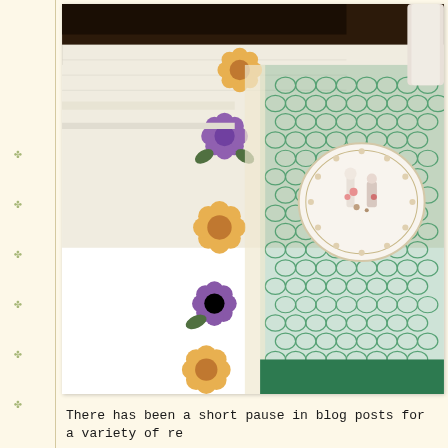[Figure (photo): A photograph of a crocheted lace doily or table runner in teal/green with decorative 3D flower appliques in yellow/gold and purple/lavender along the border. A decorative white ceramic plate with miniature figurines is placed on the crochet piece. The background shows a white surface with a printed tablecloth or fabric.]
There has been a short pause in blog posts for a variety of re